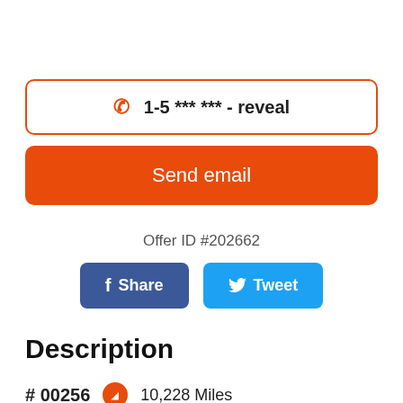1-5 *** *** - reveal
Send email
Offer ID #202662
Share
Tweet
Description
# 00256   10,228 Miles
2016 SUZUKI 1000 V-STROM ADVENTURE,